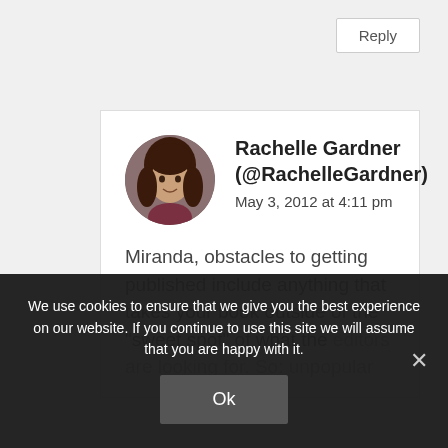Reply
Rachelle Gardner (@RachelleGardner)
May 3, 2012 at 4:11 pm
Miranda, obstacles to getting published include anything that takes your book outside of the “sweet spot” of what the editors are looking for. So: unpopular
We use cookies to ensure that we give you the best experience on our website. If you continue to use this site we will assume that you are happy with it.
Ok